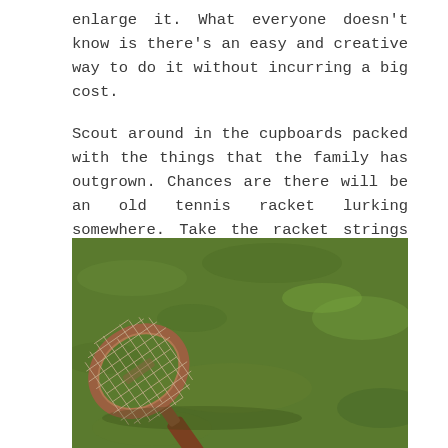enlarge it. What everyone doesn't know is there's an easy and creative way to do it without incurring a big cost.

Scout around in the cupboards packed with the things that the family has outgrown. Chances are there will be an old tennis racket lurking somewhere. Take the racket strings off carefully without bending the frame.
[Figure (photo): A vintage wooden tennis racket with strings, lying on green grass, photographed from above at an angle.]